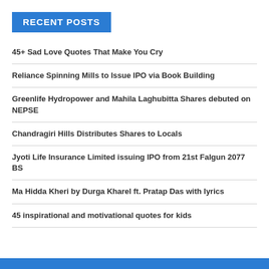RECENT POSTS
45+ Sad Love Quotes That Make You Cry
Reliance Spinning Mills to Issue IPO via Book Building
Greenlife Hydropower and Mahila Laghubitta Shares debuted on NEPSE
Chandragiri Hills Distributes Shares to Locals
Jyoti Life Insurance Limited issuing IPO from 21st Falgun 2077 BS
Ma Hidda Kheri by Durga Kharel ft. Pratap Das with lyrics
45 inspirational and motivational quotes for kids